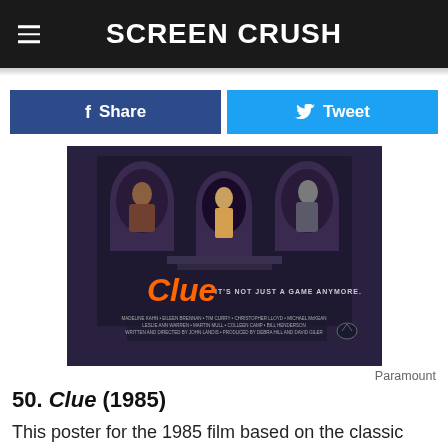Screen Crush
Share
Tweet
[Figure (photo): Movie poster for Clue (1985) showing a dark mansion with characters in windows and the orange Clue logo with tagline 'It's not just a game anymore']
Paramount
50. Clue (1985)
This poster for the 1985 film based on the classic board game does a nice job of getting across the idea that this Clue is different
In-store shopping